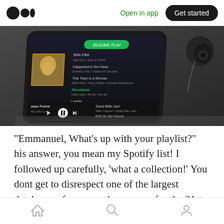Medium logo | Open in app | Get started
[Figure (photo): A Spotify app playlist open on a smartphone, placed on a gray surface next to earbuds. The screen shows a dark themed playlist with a green 'Resume Play' button and album art.]
“Emmanuel, What’s up with your playlist?” his answer, you mean my Spotify list! I followed up carefully, ‘what a collection!’ You dont get to disrespect one of the largest databases of songs and programs for the 21st-century leads and retain your prestige. Another song track jumped
Home | Search | Profile